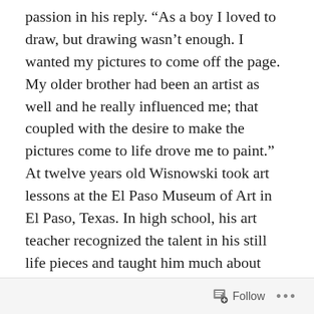passion in his reply. “As a boy I loved to draw, but drawing wasn’t enough. I wanted my pictures to come off the page. My older brother had been an artist as well and he really influenced me; that coupled with the desire to make the pictures come to life drove me to paint.” At twelve years old Wisnowski took art lessons at the El Paso Museum of Art in El Paso, Texas. In high school, his art teacher recognized the talent in his still life pieces and taught him much about perspective. Two of his teenage friends were artistically gifted as well, which spawned a bit of competition that drove him to have an amazing work ethic coupled with his talent. This landed him his first paying job as an artist drafting architectural mock ups of handicapped facilities for Raytheon Corporation. “When I got the job it was so important to me that I skipped my high school
Follow ...